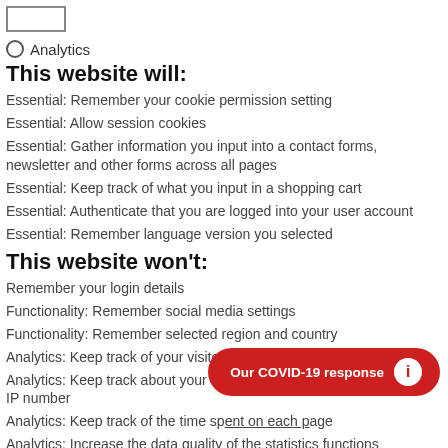[Figure (other): A checkbox UI element (rectangle outline)]
○ Analytics
This website will:
Essential: Remember your cookie permission setting
Essential: Allow session cookies
Essential: Gather information you input into a contact forms, newsletter and other forms across all pages
Essential: Keep track of what you input in a shopping cart
Essential: Authenticate that you are logged into your user account
Essential: Remember language version you selected
This website won't:
Remember your login details
Functionality: Remember social media settings
Functionality: Remember selected region and country
Analytics: Keep track of your visited pages and interaction taken
Analytics: Keep track about your location and region based on your IP number
Analytics: Keep track of the time spent on each page
Analytics: Increase the data quality of the statistics functions
[Figure (other): Red pill-shaped button with text 'Our COVID-19 response' and a white circle info icon]